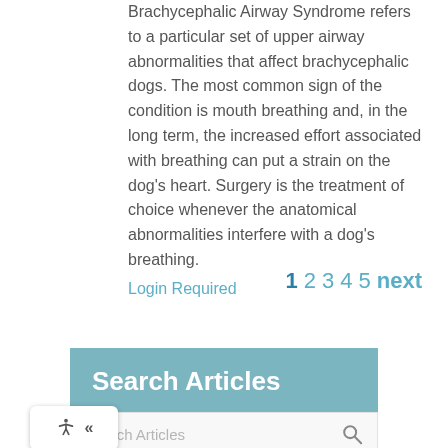Brachycephalic Airway Syndrome refers to a particular set of upper airway abnormalities that affect brachycephalic dogs. The most common sign of the condition is mouth breathing and, in the long term, the increased effort associated with breathing can put a strain on the dog's heart. Surgery is the treatment of choice whenever the anatomical abnormalities interfere with a dog's breathing.
Login Required
1 2 3 4 5 next
Search Articles
Search Articles